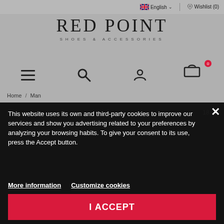English | Wishlist (0)
RED POINT
[Figure (screenshot): Navigation icons: hamburger menu, search, user account, shopping cart with 0 badge]
Home / Man
This website uses its own and third-party cookies to improve our services and show you advertising related to your preferences by analyzing your browsing habits. To give your consent to its use, press the Accept button.
More information   Customize cookies
I ACCEPT